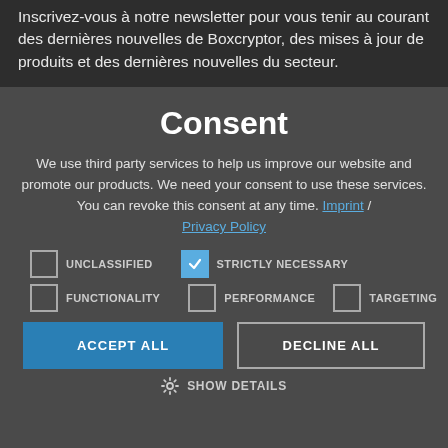Inscrivez-vous à notre newsletter pour vous tenir au courant des dernières nouvelles de Boxcryptor, des mises à jour de produits et des dernières nouvelles du secteur.
Consent
We use third party services to help us improve our website and promote our products. We need your consent to use these services. You can revoke this consent at any time. Imprint / Privacy Policy
UNCLASSIFIED (unchecked)
STRICTLY NECESSARY (checked)
FUNCTIONALITY (unchecked)
PERFORMANCE (unchecked)
TARGETING (unchecked)
ACCEPT ALL
DECLINE ALL
SHOW DETAILS